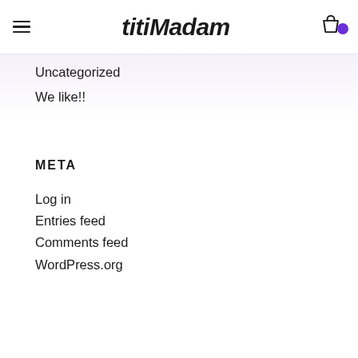titiMadam
Uncategorized
We like!!
META
Log in
Entries feed
Comments feed
WordPress.org